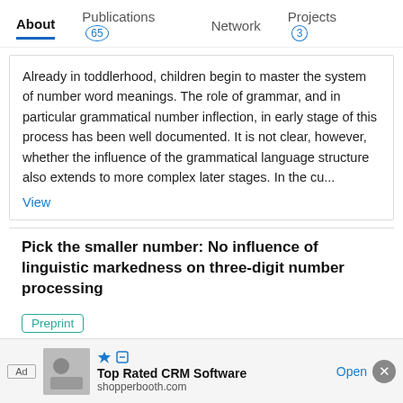About  Publications 65  Network  Projects 3
Already in toddlerhood, children begin to master the system of number word meanings. The role of grammar, and in particular grammatical number inflection, in early stage of this process has been well documented. It is not clear, however, whether the influence of the grammatical language structure also extends to more complex later stages. In the cu...
View
Pick the smaller number: No influence of linguistic markedness on three-digit number processing
Preprint
Aug 2020
Julia Bahnmueller · Krzysztof Cipora · Silke Melanie Goebel · [...] · Mojtaba Soltanlou
The symbolic number comparison task has been widely used to